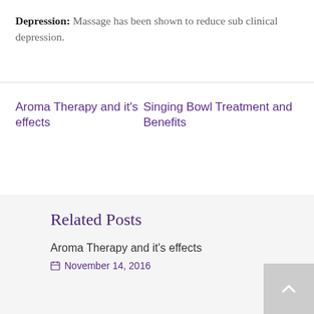Depression: Massage has been shown to reduce sub clinical depression.
Aroma Therapy and it's effects
Singing Bowl Treatment and Benefits
Related Posts
Aroma Therapy and it's effects
November 14, 2016